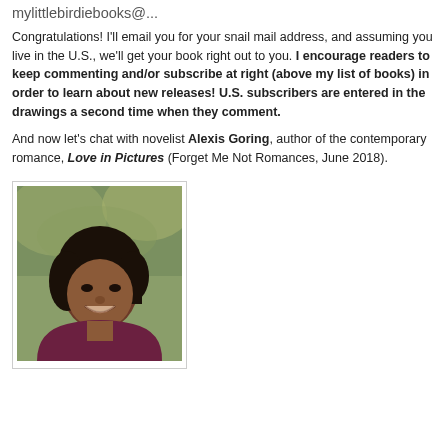mylittlebirdlebooks@...
Congratulations! I'll email you for your snail mail address, and assuming you live in the U.S., we'll get your book right out to you. I encourage readers to keep commenting and/or subscribe at right (above my list of books) in order to learn about new releases! U.S. subscribers are entered in the drawings a second time when they comment.
And now let's chat with novelist Alexis Goring, author of the contemporary romance, Love in Pictures (Forget Me Not Romances, June 2018).
[Figure (photo): Portrait photo of Alexis Goring, a woman with dark hair, smiling, wearing a dark purple/maroon top, with a blurred outdoor background of trees.]